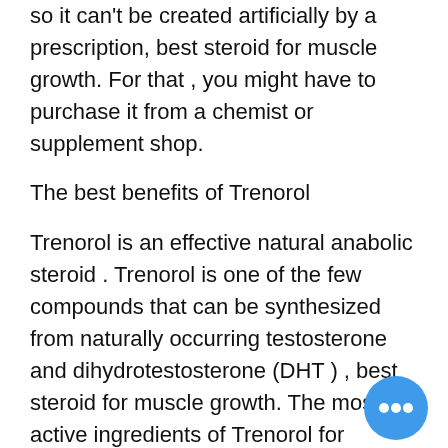so it can't be created artificially by a prescription, best steroid for muscle growth. For that , you might have to purchase it from a chemist or supplement shop.
The best benefits of Trenorol
Trenorol is an effective natural anabolic steroid . Trenorol is one of the few compounds that can be synthesized from naturally occurring testosterone and dihydrotestosterone (DHT ) , best steroid for muscle growth. The most active ingredients of Trenorol for muscle building are 5 and 10-Tetrahydro-trenbolone (Tb), followed by 5-bromo-trenbolone (Bt) and 2-bromo-Tb, anabolic steroids joints.
Trenorol can also be found in the following products: Trenbolone , Trenbolone Ox..., Trenbolone Enanthate, and Trenbolone Enanthate +, closest supplement to steroids.